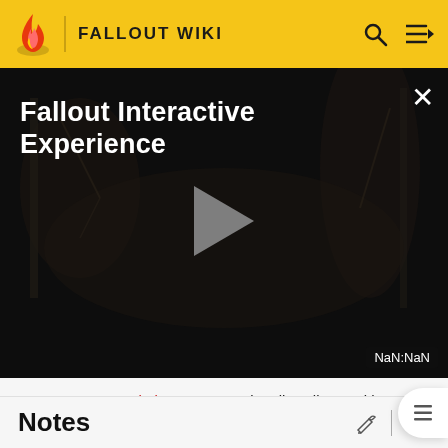FALLOUT WIKI
[Figure (screenshot): Fallout Interactive Experience video player showing a dark atmospheric game scene with a play button in the center. Title reads 'Fallout Interactive Experience'. Close button (x) in top right. NaN:NaN timestamp shown in bottom right corner.]
Sunny at Foundation may occasionally sell one with random modifications applied to it.
Notes